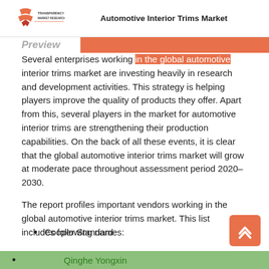Automotive Interior Trims Market
Several enterprises working in the global automotive interior trims market are investing heavily in research and development activities. This strategy is helping players improve the quality of products they offer. Apart from this, several players in the market for automotive interior trims are strengthening their production capabilities. On the back of all these events, it is clear that the global automotive interior trims market will grow at moderate pace throughout assessment period 2020–2030.
The report profiles important vendors working in the global automotive interior trims market. This list includes following names:
Cooper Standard
Qinghe Yongxin